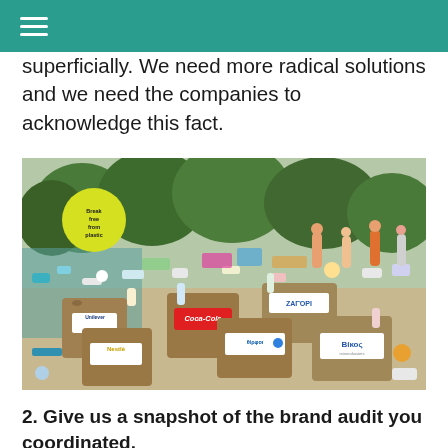☰
superficially. We need more radical solutions and we need the companies to acknowledge this fact.
[Figure (photo): Outdoor protest scene showing bags of collected plastic waste labeled with brand names including Unilever, Coca-Cola, Nestlé, ΖΑΓΌΡΙ, Βίκος, and others, spread across a sandy or gravel surface with people and trees in the background. A yellow 'Break free from plastic' sign is visible.]
2. Give us a snapshot of the brand audit you coordinated.